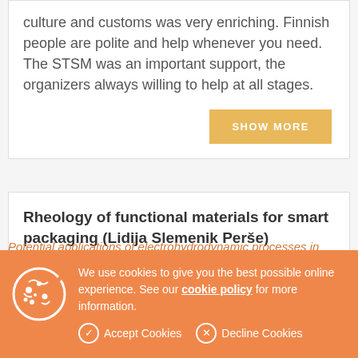culture and customs was very enriching. Finnish people are polite and help whenever you need. The STSM was an important support, the organizers always willing to help at all stages.
SHOW MORE
Rheology of functional materials for smart packaging (Lidija Slemenik Perše)
SHOW MORE
We use cookies to give you the best possible online experience. See our cookie policy for more information.
Accept Cookies   Decline Cookies
Potential applications of electrohydrodynamic processes in paper and boardUse of cellulosic